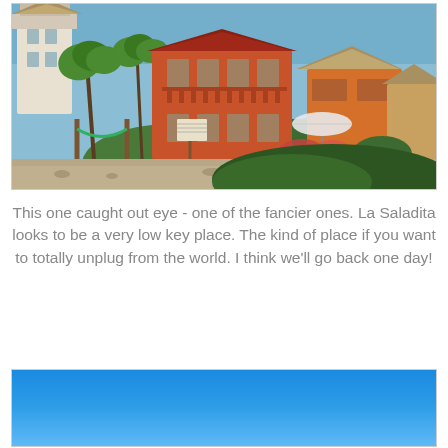[Figure (photo): Photograph of a resort or hotel with orange/red painted buildings with thatched-roof palapas, palm trees, hammock visible, beach/rocky ground in foreground, lush green shrubs]
This one caught out eye - one of the fancier ones. La Saladita looks to be a very low key place. The kind of place if you want to totally unplug from the world. I think we'll go back one day!
[Figure (photo): Photograph showing a blue sky gradient, likely a beach or outdoor scene with clear blue sky]